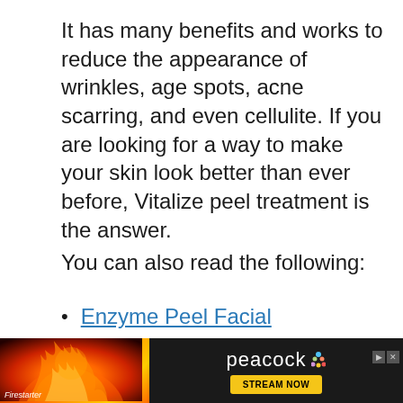It has many benefits and works to reduce the appearance of wrinkles, age spots, acne scarring, and even cellulite. If you are looking for a way to make your skin look better than ever before, Vitalize peel treatment is the answer.
You can also read the following:
Enzyme Peel Facial
Lactic Peel Facial
Grape Peel Treatment
Diamond Peeling Facial
Microdermabrasion vs. Microneedling vs. Chemical Peeling: which one is
[Figure (other): Advertisement banner for Peacock streaming service with Firestarter movie imagery on left and Peacock logo with STREAM NOW button on right]